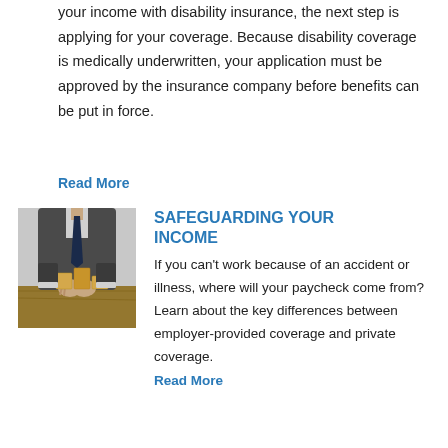your income with disability insurance, the next step is applying for your coverage. Because disability coverage is medically underwritten, your application must be approved by the insurance company before benefits can be put in force.
Read More
[Figure (photo): Person in business attire holding wooden blocks on a desk, suggesting stability or risk management.]
SAFEGUARDING YOUR INCOME
If you can't work because of an accident or illness, where will your paycheck come from? Learn about the key differences between employer-provided coverage and private coverage.
Read More